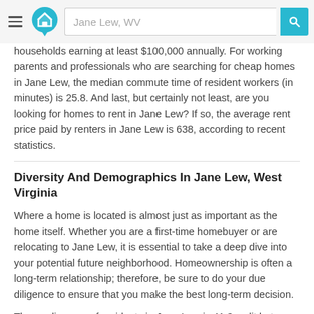Jane Lew, WV — search interface header
households earning at least $100,000 annually. For working parents and professionals who are searching for cheap homes in Jane Lew, the median commute time of resident workers (in minutes) is 25.8. And last, but certainly not least, are you looking for homes to rent in Jane Lew? If so, the average rent price paid by renters in Jane Lew is 638, according to recent statistics.
Diversity And Demographics In Jane Lew, West Virginia
Where a home is located is almost just as important as the home itself. Whether you are a first-time homebuyer or are relocating to Jane Lew, it is essential to take a deep dive into your potential future neighborhood. Homeownership is often a long-term relationship; therefore, be sure to do your due diligence to ensure that you make the best long-term decision.
The median age of residents in Jane Lew is 41.3, split between 49.3 percent male versus 50.7 female. The percentage of residents who report being married in Jane Lew is 55.5, with an average family size of 3.0.